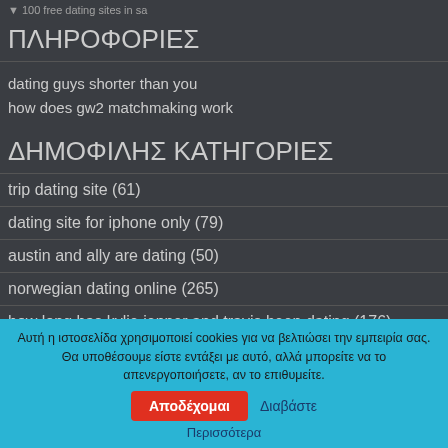▼ 100 free dating sites in sa
ΠΛΗΡΟΦΟΡΙΕΣ
dating guys shorter than you
how does gw2 matchmaking work
ΔΗΜΟΦΙΛΗΣ ΚΑΤΗΓΟΡΙΕΣ
trip dating site (61)
dating site for iphone only (79)
austin and ally are dating (50)
norwegian dating online (265)
how long has kylie jenner and travis been dating (176)
Αυτή η ιστοσελίδα χρησιμοποιεί cookies για να βελτιώσει την εμπειρία σας. Θα υποθέσουμε είστε εντάξει με αυτό, αλλά μπορείτε να το απενεργοποιήσετε, αν το επιθυμείτε. Αποδέχομαι Διαβάστε Περισσότερα